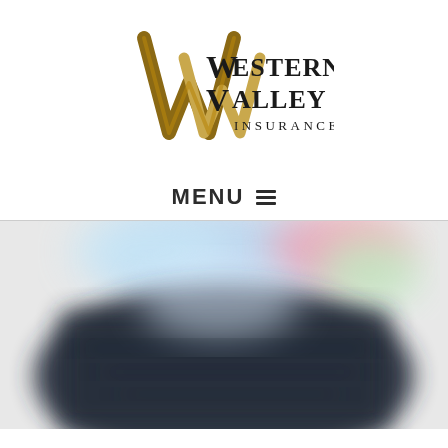[Figure (logo): Western Valley Insurance logo with stylized double-W monogram in gold/brown tones and serif text reading WESTERN VALLEY INSURANCE]
MENU ☰
[Figure (photo): Blurred/out-of-focus hero image showing a dark mountainous or architectural scene with colorful blurred light spots (blue, pink, green) in the background]